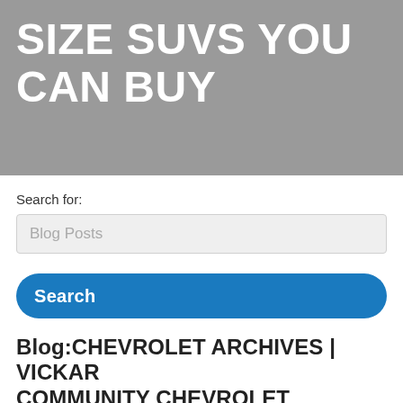SIZE SUVS YOU CAN BUY
Search for:
Blog Posts
Search
Blog:CHEVROLET ARCHIVES | VICKAR COMMUNITY CHEVROLET
2018 CHEVROLET TRAVERSE ONE OF THE MOST SPACIOUS